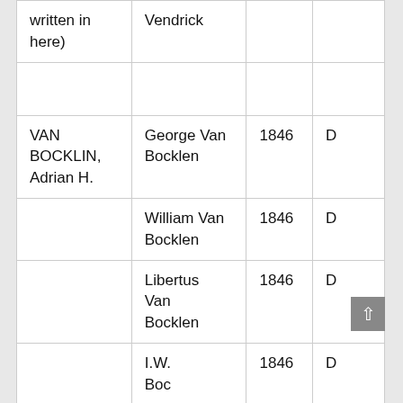| written in here) | Vendrick |  |  |
|  |  |  |  |
| VAN BOCKLIN, Adrian H. | George Van Bocklen | 1846 | D |
|  | William Van Bocklen | 1846 | D |
|  | Libertus Van Bocklen | 1846 | D |
|  | I.W. ... | 1846 | D |